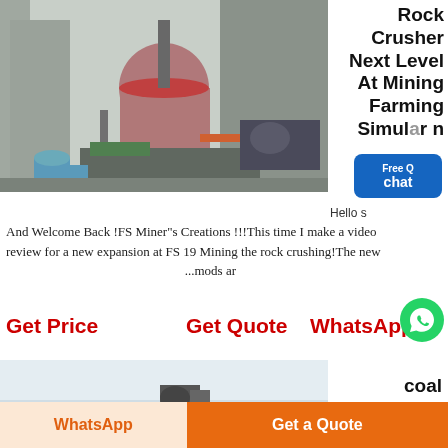[Figure (photo): Industrial rock crusher / mining machinery equipment in a factory setting with metal structures, pipes, and blue barrels visible]
Rock Crusher Next Level At Mining Farming Simul... n
Free chat
Hello s
And Welcome Back !FS Miner"s Creations !!!This time I make a video review for a new expansion at FS 19 Mining the rock crushing!The new ...mods ar
Get Price
Get Quote
WhatsApp
[Figure (photo): Partial view of a second machinery/equipment photo at the bottom of the page]
coal
WhatsApp
Get a Quote